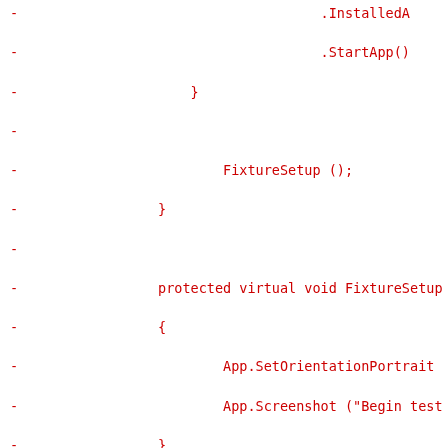[Figure (other): Code diff snippet in red monospace font showing C# code for FixtureSetup and SetupDevice methods, with lines prefixed by '-' indicating removed lines.]